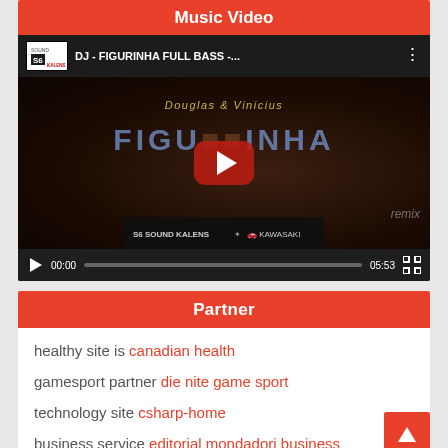Music Video
[Figure (screenshot): YouTube video player showing 'DJ - FIGURINHA FULL BASS -...' by Douglas & Vinicius, paused at 00:00, total duration 05:53, with play button overlay and fullscreen control.]
Partner
healthy site is canadian health
gamesport partner die nite game sport
technology site csharp-home
business service editorial mondadori business